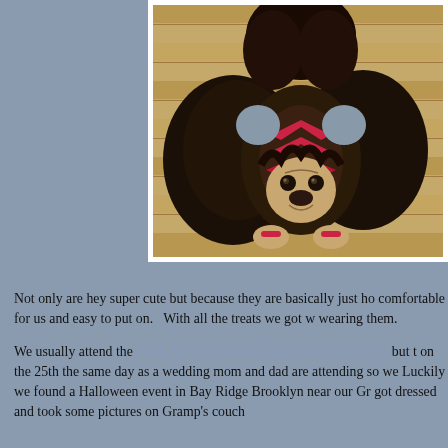[Figure (photo): A small pug dog wearing a black feathered wings costume with a red chevron patterned vest, photographed from above on a wooden deck floor.]
Not only are hey super cute but because they are basically just ho comfortable for us and easy to put on.   With all the treats we got w wearing them.
We usually attend the Canis Minor Halloween parade in Jersey City but t on the 25th the same day as a wedding mom and dad are attending so we Luckily we found a Halloween event in Bay Ridge Brooklyn near our Gr got dressed and took some pictures on Gramp's couch